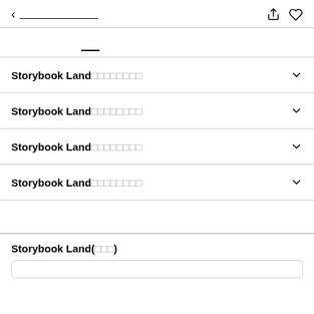< 〓〓〓〓〓〓〓〓
〓〓  〓〓  〓〓
Storybook Land〓〓〓〓〓〓〓〓
Storybook Land〓〓〓〓〓〓〓〓
Storybook Land〓〓〓〓〓〓〓〓
Storybook Land〓〓〓〓〓〓〓〓
Storybook Land(〓〓〓)